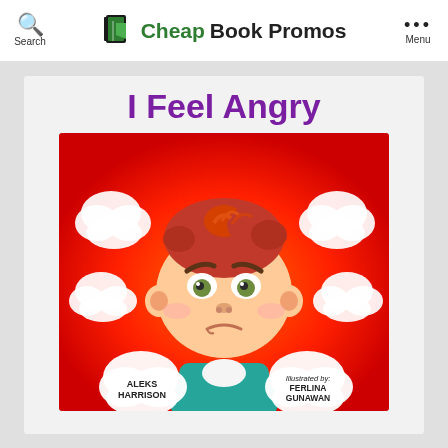Search | Cheap Book Promos | Menu
I Feel Angry
[Figure (illustration): Children's book cover illustration showing a cartoon angry boy with red/orange hair, furrowed brows, and a pout, set against a red and orange background with white cloud/smoke bursts. Two speech-bubble clouds at the bottom contain the text 'ALEKS HARRISON' on the left and 'Illustrated by: FERLINA GUNAWAN' on the right. The boy is wearing a teal shirt.]